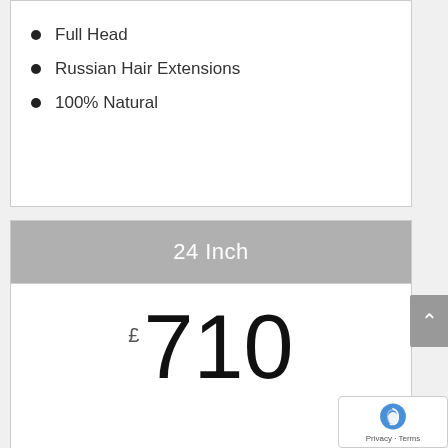Full Head
Russian Hair Extensions
100% Natural
24 Inch
£710